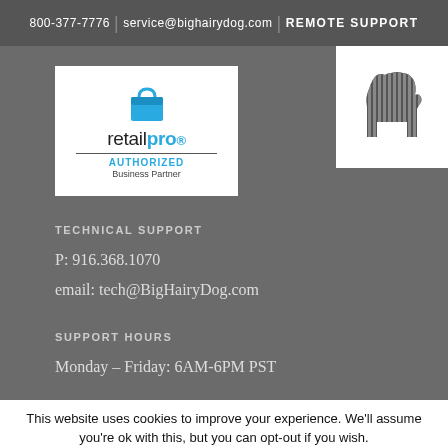800-377-7776   service@bighairydog.com   REMOTE SUPPORT
[Figure (logo): Retail Pro Authorized Business Partner logo - white background with shopping bag icon, text 'retailpro', blue 'AUTHORIZED', 'Business Partner']
[Figure (logo): Big Hairy Dog logo - white background with a stylized striped dog silhouette]
TECHNICAL SUPPORT
P: 916.368.1070
email: tech@BigHairyDog.com
SUPPORT HOURS
Monday – Friday: 6AM-6PM PST
This website uses cookies to improve your experience. We'll assume you're ok with this, but you can opt-out if you wish.
Cookie settings   ACCEPT